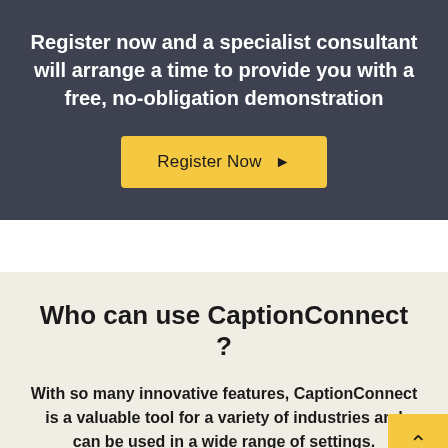Register now and a specialist consultant will arrange a time to provide you with a free, no-obligation demonstration
Register Now
Who can use CaptionConnect ?
With so many innovative features, CaptionConnect is a valuable tool for a variety of industries and can be used in a wide range of settings.